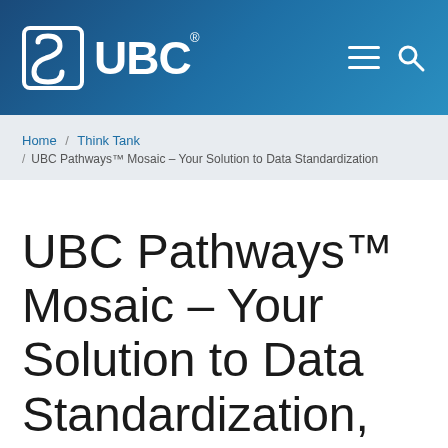[Figure (logo): UBC logo in white on dark blue gradient header background, with hamburger menu and search icon on the right]
Home / Think Tank / UBC Pathways™ Mosaic – Your Solution to Data Standardization
UBC Pathways™ Mosaic – Your Solution to Data Standardization, Any